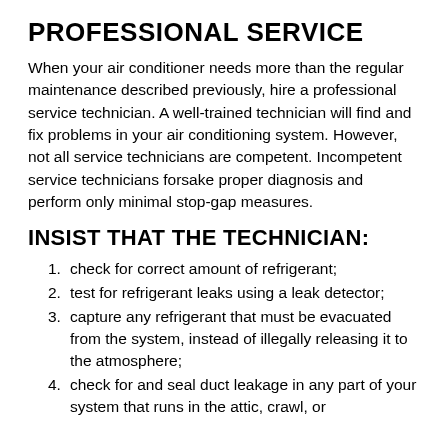PROFESSIONAL SERVICE
When your air conditioner needs more than the regular maintenance described previously, hire a professional service technician. A well-trained technician will find and fix problems in your air conditioning system. However, not all service technicians are competent. Incompetent service technicians forsake proper diagnosis and perform only minimal stop-gap measures.
INSIST THAT THE TECHNICIAN:
check for correct amount of refrigerant;
test for refrigerant leaks using a leak detector;
capture any refrigerant that must be evacuated from the system, instead of illegally releasing it to the atmosphere;
check for and seal duct leakage in any part of your system that runs in the attic, crawl, or